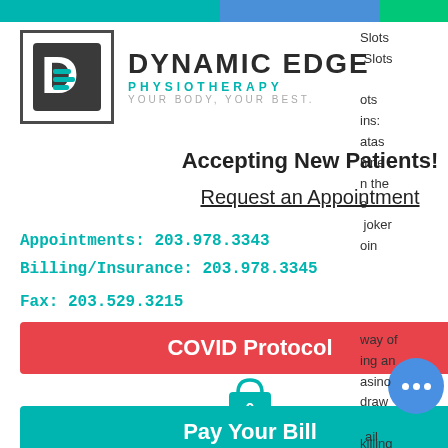[Figure (logo): Dynamic Edge Physiotherapy logo with D icon and tagline YOUR BODY, YOUR BEST.]
Accepting New Patients!
Request an Appointment
Appointments: 203.978.3343
Billing/Insurance: 203.978.3345
Fax: 203.529.3215
COVID Protocol
Pay Your Bill